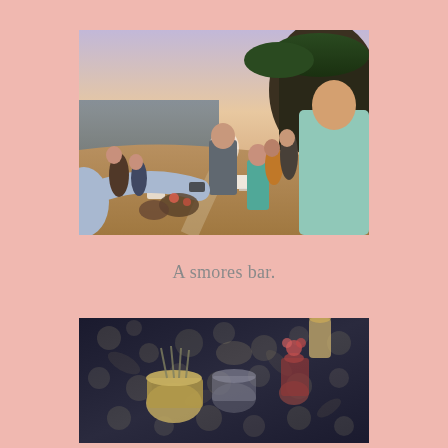[Figure (photo): Outdoor beach wedding ceremony scene at sunset. People are gathered along an aisle lined with white chairs and florals. A man in a light blue shirt reaches toward the camera while others watch. Rocky cliffs and ocean visible in the background.]
A smores bar.
[Figure (photo): Close-up top-down view of a table covered with a dark floral patterned tablecloth, with various items including what appears to be baskets and containers arranged on it, part of a smores bar setup.]